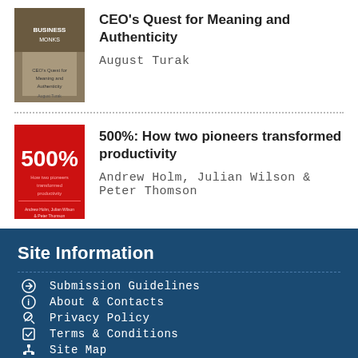[Figure (photo): Book cover of 'Business Monks: CEO's Quest for Meaning and Authenticity' by August Turak, showing monks in robes]
CEO's Quest for Meaning and Authenticity
August Turak
[Figure (photo): Book cover of '500%: How two pioneers transformed productivity', red cover with bold '500%' text]
500%: How two pioneers transformed productivity
Andrew Holm, Julian Wilson & Peter Thomson
Site Information
Submission Guidelines
About & Contacts
Privacy Policy
Terms & Conditions
Site Map